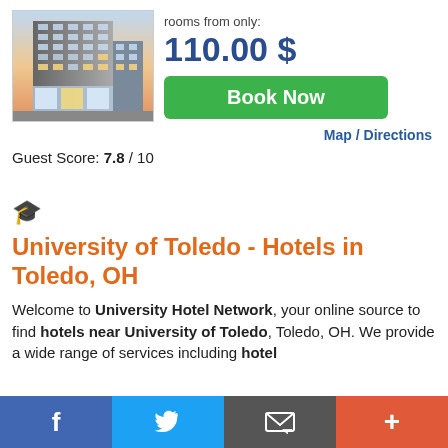[Figure (photo): Photo of a modern hotel building exterior at dusk/sunset with glass facade and multi-story structure]
rooms from only:
110.00 $
Book Now
Map / Directions
Guest Score: 7.8 / 10
🎓 University of Toledo - Hotels in Toledo, OH
Welcome to University Hotel Network, your online source to find hotels near University of Toledo, Toledo, OH. We provide a wide range of services including hotel